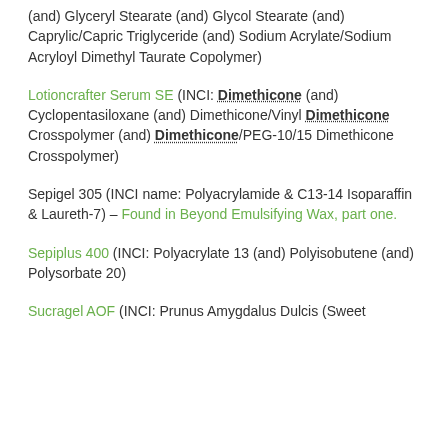(and) Glyceryl Stearate (and) Glycol Stearate (and) Caprylic/Capric Triglyceride (and) Sodium Acrylate/Sodium Acryloyl Dimethyl Taurate Copolymer)
Lotioncrafter Serum SE (INCI: Dimethicone (and) Cyclopentasiloxane (and) Dimethicone/Vinyl Dimethicone Crosspolymer (and) Dimethicone/PEG-10/15 Dimethicone Crosspolymer)
Sepigel 305 (INCI name: Polyacrylamide & C13-14 Isoparaffin & Laureth-7) – Found in Beyond Emulsifying Wax, part one.
Sepiplus 400 (INCI: Polyacrylate 13 (and) Polyisobutene (and) Polysorbate 20)
Sucragel AOF (INCI: Prunus Amygdalus Dulcis (Sweet